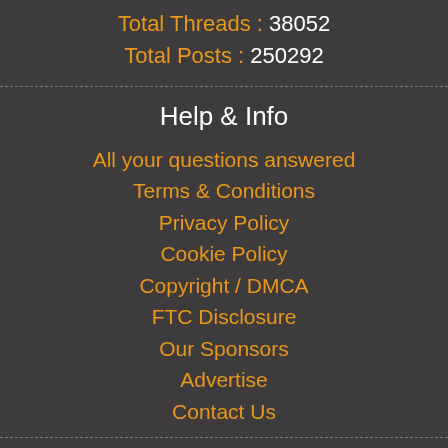Total Threads : 38052
Total Posts : 250292
Help & Info
All your questions answered
Terms & Conditions
Privacy Policy
Cookie Policy
Copyright / DMCA
FTC Disclosure
Our Sponsors
Advertise
Contact Us
Social Networks
Join Us On Facebook
Join Us On Twitter